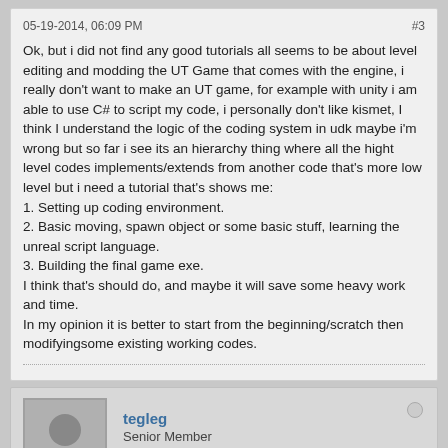05-19-2014, 06:09 PM   #3
Ok, but i did not find any good tutorials all seems to be about level editing and modding the UT Game that comes with the engine, i really don't want to make an UT game, for example with unity i am able to use C# to script my code, i personally don't like kismet, I think I understand the logic of the coding system in udk maybe i'm wrong but so far i see its an hierarchy thing where all the hight level codes implements/extends from another code that's more low level but i need a tutorial that's shows me:
1. Setting up coding environment.
2. Basic moving, spawn object or some basic stuff, learning the unreal script language.
3. Building the final game exe.
I think that's should do, and maybe it will save some heavy work and time.
In my opinion it is better to start from the beginning/scratch then modifyingsome existing working codes.
tegleg
Senior Member
Join Date: Aug 2022   Posts: 4666